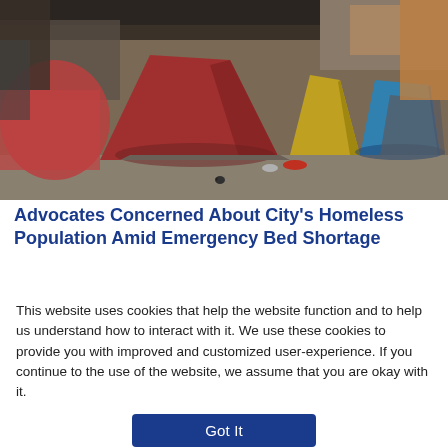[Figure (photo): Outdoor homeless encampment with multiple colorful tents (red, blue-green, orange) set up under what appears to be an overpass or bridge structure. Belongings and bedding are scattered around the tents on concrete ground.]
Advocates Concerned About City's Homeless Population Amid Emergency Bed Shortage
[Figure (logo): WTTW NEWS logo in small text]
Sign up for our morning newsletter to
This website uses cookies that help the website function and to help us understand how to interact with it. We use these cookies to provide you with improved and customized user-experience. If you continue to the use of the website, we assume that you are okay with it.
Got It